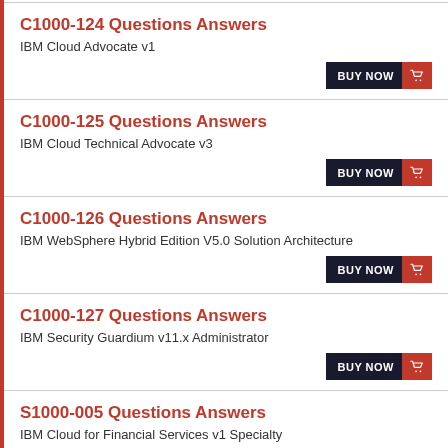C1000-124 Questions Answers — IBM Cloud Advocate v1
C1000-125 Questions Answers — IBM Cloud Technical Advocate v3
C1000-126 Questions Answers — IBM WebSphere Hybrid Edition V5.0 Solution Architecture
C1000-127 Questions Answers — IBM Security Guardium v11.x Administrator
S1000-005 Questions Answers — IBM Cloud for Financial Services v1 Specialty